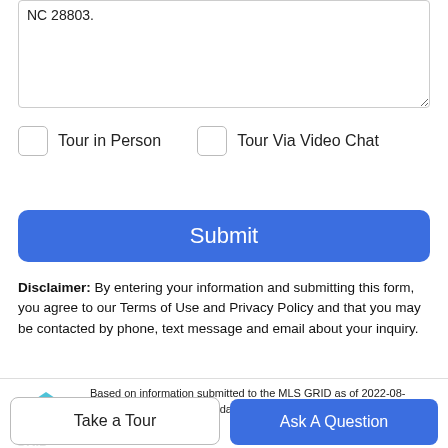NC 28803.
Tour in Person
Tour Via Video Chat
Submit
Disclaimer: By entering your information and submitting this form, you agree to our Terms of Use and Privacy Policy and that you may be contacted by phone, text message and email about your inquiry.
[Figure (logo): MLS GRID logo with colorful stacked layers]
Based on information submitted to the MLS GRID as of 2022-08-28T22:32:58.623 UTC. All data is obtained from various sources and has not been, and will not be, verified by broker or MLS GRID.
Take a Tour
Ask A Question